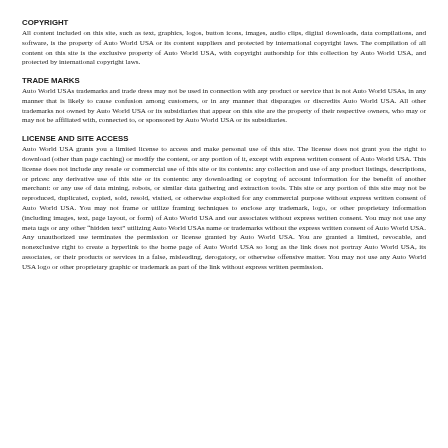COPYRIGHT
All content included on this site, such as text, graphics, logos, button icons, images, audio clips, digital downloads, data compilations, and software, is the property of Auto World USA or its content suppliers and protected by international copyright laws. The compilation of all content on this site is the exclusive property of Auto World USA, with copyright authorship for this collection by Auto World USA, and protected by international copyright laws.
TRADE MARKS
Auto World USAs trademarks and trade dress may not be used in connection with any product or service that is not Auto World USAs, in any manner that is likely to cause confusion among customers, or in any manner that disparages or discredits Auto World USA. All other trademarks not owned by Auto World USA or its subsidiaries that appear on this site are the property of their respective owners, who may or may not be affiliated with, connected to, or sponsored by Auto World USA or its subsidiaries.
LICENSE AND SITE ACCESS
Auto World USA grants you a limited license to access and make personal use of this site. The license does not grant you the right to download (other than page caching) or modify the content, or any portion of it, except with express written consent of Auto World USA. This license does not include any resale or commercial use of this site or its contents: any collection and use of any product listings, descriptions, or prices: any derivative use of this site or its contents: any downloading or copying of account information for the benefit of another merchant: or any use of data mining, robots, or similar data gathering and extraction tools. This site or any portion of this site may not be reproduced, duplicated, copied, sold, resold, visited, or otherwise exploited for any commercial purpose without express written consent of Auto World USA. You may not frame or utilize framing techniques to enclose any trademark, logo, or other proprietary information (including images, text, page layout, or form) of Auto World USA and our associates without express written consent. You may not use any meta tags or any other "hidden text" utilizing Auto World USAs name or trademarks without the express written consent of Auto World USA. Any unauthorized use terminates the permission or license granted by Auto World USA. You are granted a limited, revocable, and nonexclusive right to create a hyperlink to the home page of Auto World USA so long as the link does not portray Auto World USA, its associates, or their products or services in a false, misleading, derogatory, or otherwise offensive matter. You may not use any Auto World USA logo or other proprietary graphic or trademark as part of the link without express written permission.